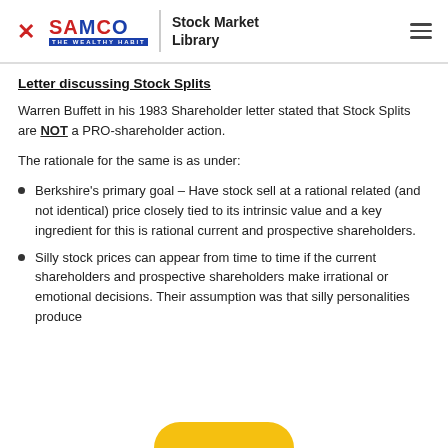SAMCO Stock Market Library
Letter discussing Stock Splits
Warren Buffett in his 1983 Shareholder letter stated that Stock Splits are NOT a PRO-shareholder action.
The rationale for the same is as under:
Berkshire's primary goal – Have stock sell at a rational related (and not identical) price closely tied to its intrinsic value and a key ingredient for this is rational current and prospective shareholders.
Silly stock prices can appear from time to time if the current shareholders and prospective shareholders make irrational or emotional decisions. Their assumption was that silly personalities produce